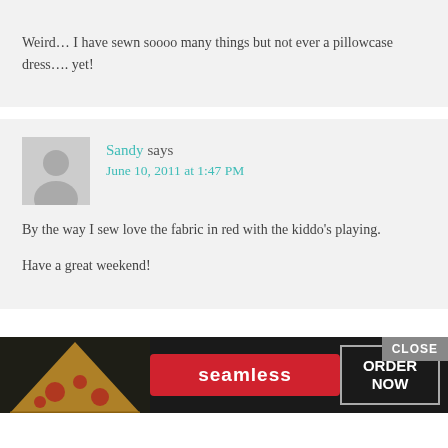Weird… I have sewn soooo many things but not ever a pillowcase dress…. yet!
Sandy says
June 10, 2011 at 1:47 PM
By the way I sew love the fabric in red with the kiddo's playing.

Have a great weekend!
[Figure (screenshot): Seamless food ordering advertisement banner with pizza image, red Seamless logo button, and ORDER NOW button, with a CLOSE button in the upper right]